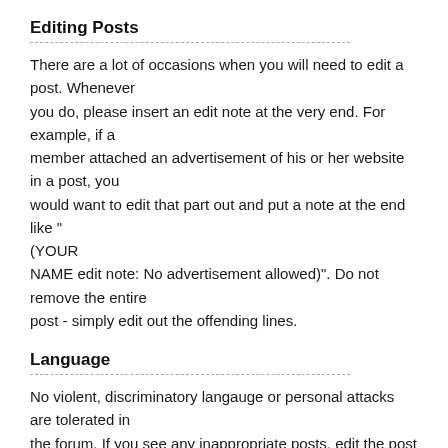Editing Posts
There are a lot of occasions when you will need to edit a post. Whenever you do, please insert an edit note at the very end. For example, if a member attached an advertisement of his or her website in a post, you would want to edit that part out and put a note at the end like "(YOUR NAME edit note: No advertisement allowed)". Do not remove the entire post - simply edit out the offending lines.
Language
No violent, discriminatory langauge or personal attacks are tolerated in the forum. If you see any inappropriate posts, edit the post immediately. Remove the offending portion or entire post body and insert a edit note explaining your action. If an excessive amount of profanity is used in a post, remove it.